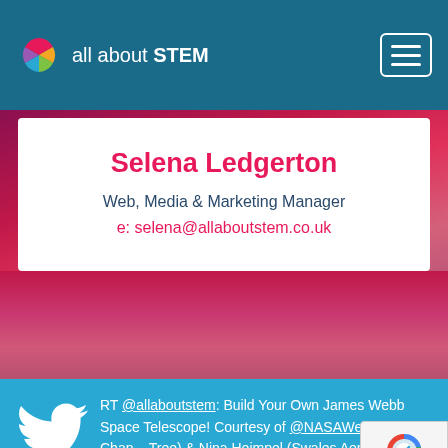all about STEM
Selena Ledgerton
Web, Media & Marketing Manager
e: selena@allaboutstem.co.uk
RT @allaboutstem: Build Your Own James Webb Space Telescope! Courtesy of @NASAWebb, Jenny Chan... Tree) & Nina Heimpel (Swales Aeros...
Follow...